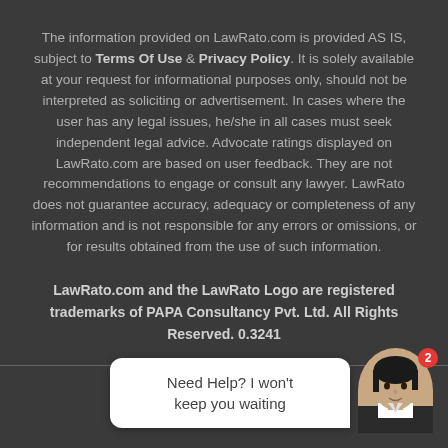The information provided on LawRato.com is provided AS IS, subject to Terms Of Use & Privacy Policy. It is solely available at your request for informational purposes only, should not be interpreted as soliciting or advertisement. In cases where the user has any legal issues, he/she in all cases must seek independent legal advice. Advocate ratings displayed on LawRato.com are based on user feedback. They are not recommendations to engage or consult any lawyer. LawRato does not guarantee accuracy, adequacy or completeness of any information and is not responsible for any errors or omissions, or for results obtained from the use of such information.
LawRato.com and the LawRato Logo are registered trademarks of PAPA Consultancy Pvt. Ltd. All Rights Reserved. 0.3241
[Figure (other): Chat widget with speech bubble saying 'Need Help? I won't keep you waiting' and a female avatar with a red badge showing the number 2]